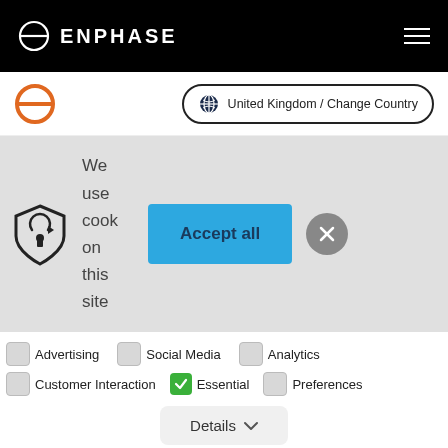ENPHASE
[Figure (screenshot): Enphase website navigation bar with logo and hamburger menu on black background]
[Figure (screenshot): Secondary header with orange Enphase logo and United Kingdom / Change Country button]
We use cook on this site
[Figure (screenshot): Cookie consent banner with lock/shield icon, Accept all button, and close button]
Advertising
Social Media
Analytics
Customer Interaction
Essential
Preferences
Details